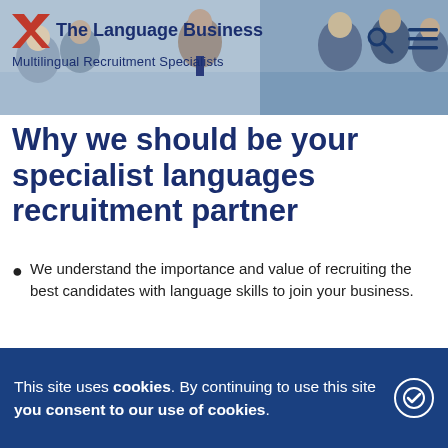[Figure (photo): Header banner with business meeting photo in background, The Language Business logo on left, search and menu icons on right]
Why we should be your specialist languages recruitment partner
We understand the importance and value of recruiting the best candidates with language skills to join your business.
Our focus is on QUALITY rather than quantity. We only shortlist those candidates with language skills who are truly qualified and experienced in their specialist line. This means we may well only send you a few select CVs, but we would rather do that than
This site uses cookies. By continuing to use this site you consent to our use of cookies.